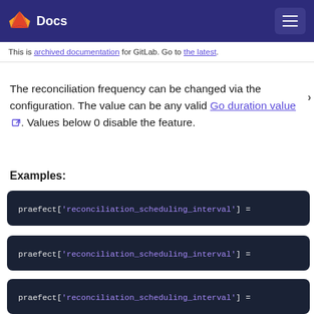Docs
This is archived documentation for GitLab. Go to the latest.
The reconciliation frequency can be changed via the configuration. The value can be any valid Go duration value. Values below 0 disable the feature.
Examples:
praefect['reconciliation_scheduling_interval'] =
praefect['reconciliation_scheduling_interval'] =
praefect['reconciliation_scheduling_interval'] =